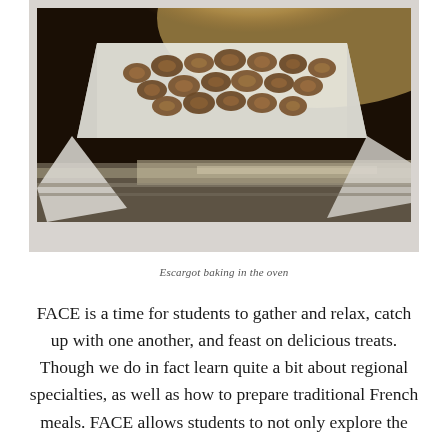[Figure (photo): Escargot (snails) baking in the oven, arranged in a white parchment-lined box on a foil-covered tray, photographed in warm light. The photo is presented in a polaroid-style light gray frame.]
Escargot baking in the oven
FACE is a time for students to gather and relax, catch up with one another, and feast on delicious treats. Though we do in fact learn quite a bit about regional specialties, as well as how to prepare traditional French meals. FACE allows students to not only explore the